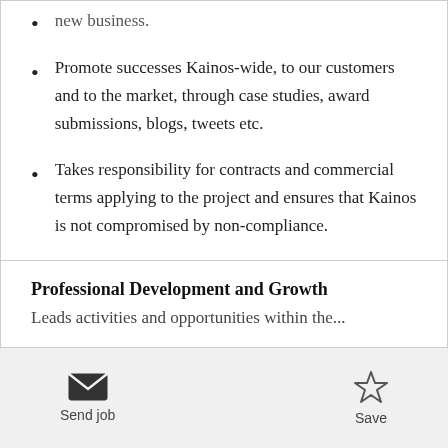new business.
Promote successes Kainos-wide, to our customers and to the market, through case studies, award submissions, blogs, tweets etc.
Takes responsibility for contracts and commercial terms applying to the project and ensures that Kainos is not compromised by non-compliance.
Ensure sound knowledge of all Kainos key offerings to ensure ability to cross and up sell.
Professional Development and Growth
Leads activities and opportunities within the...
Send job   Save